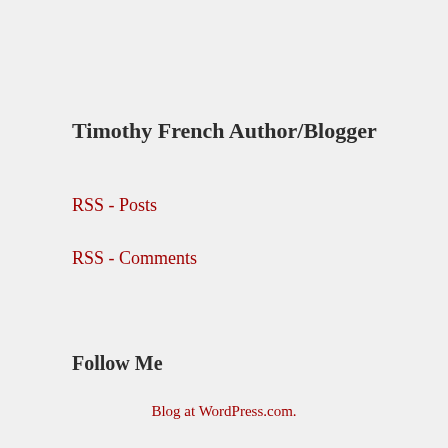Timothy French Author/Blogger
RSS - Posts
RSS - Comments
Follow Me
Blog at WordPress.com.